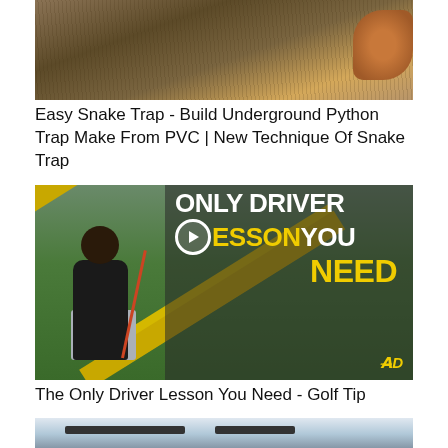[Figure (photo): Thumbnail of a snake trap video showing dry grass/hay terrain with a human hand visible on the right side]
Easy Snake Trap - Build Underground Python Trap Make From PVC | New Technique Of Snake Trap
[Figure (screenshot): Golf instruction video thumbnail with a golfer swinging a driver on a green course, yellow X stripes overlaid, text reading ONLY DRIVER LESSON YOU NEED with a play button circle, and AD logo in bottom right]
The Only Driver Lesson You Need - Golf Tip
[Figure (photo): Partial thumbnail of a third video, showing a dark elongated object (possibly a car or weapon) against a light blue-gray sky]